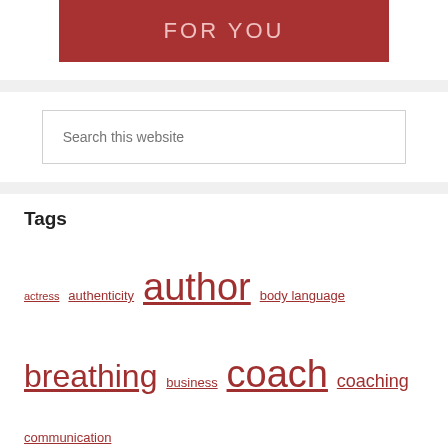[Figure (illustration): Red banner with text 'FOR YOU' in light pink/white letters on dark red background]
[Figure (screenshot): Search input box with placeholder text 'Search this website']
Tags
actress  authenticity  author  body language  breathing  business  coach  coaching  communication skills  design  emotions  entrepreneur  entrepreneurs